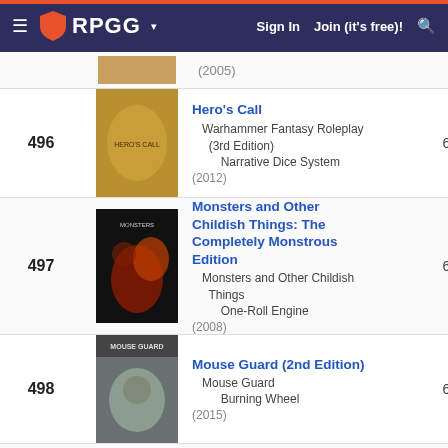RPGG — Sign In | Join (it's free)!
| Rank | Cover | Title / System / Engine / Year | Score | Score2 |
| --- | --- | --- | --- | --- |
|  |  | (2005) |  |  |
| 496 |  | Hero's Call
Warhammer Fantasy Roleplay (3rd Edition)
Narrative Dice System
(2012) | 6.766 | 8.6 |
| 497 |  | Monsters and Other Childish Things: The Completely Monstrous Edition
Monsters and Other Childish Things
One-Roll Engine
(2008) | 6.766 | 7.7 |
| 498 |  | Mouse Guard (2nd Edition)
Mouse Guard
Burning Wheel
(2015) | 6.766 | 8.2 |
| 499 |  | A2: Secret of the Slavers Stockade
... | 6.764 | 7. |